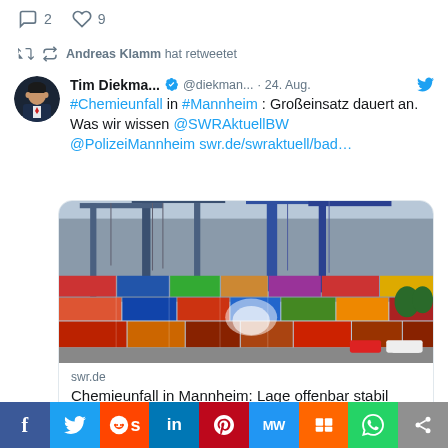2  9
Andreas Klamm hat retweetet
Tim Diekma... @diekman... · 24. Aug. #Chemieunfall in #Mannheim: Großeinsatz dauert an. Was wir wissen @SWRaktuellBW @PolizeiMannheim swr.de/swraktuell/bad...
[Figure (photo): Photo of a container port/harbor with colorful shipping containers, cranes in the background, and what appears to be water jets from firefighting operations.]
swr.de
Chemieunfall in Mannheim: Lage offenbar stabil
f  Twitter  Reddit  in  Pinterest  MW  Mix  WhatsApp  Share